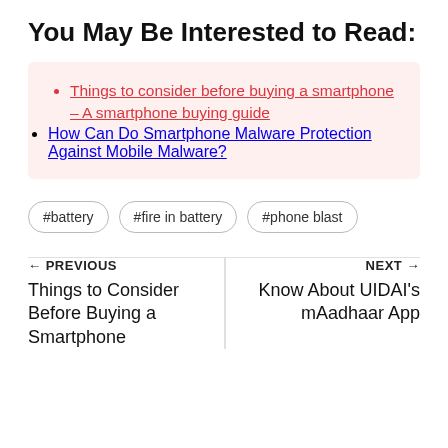You May Be Interested to Read:
Things to consider before buying a smartphone – A smartphone buying guide
How Can Do Smartphone Malware Protection Against Mobile Malware?
#battery  #fire in battery  #phone blast
← PREVIOUS
Things to Consider Before Buying a Smartphone
NEXT →
Know About UIDAI's mAadhaar App